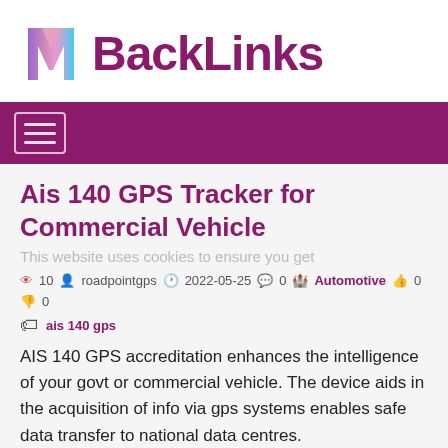[Figure (logo): MBackLinks logo with colorful M icon and purple BackLinks text]
Navigation bar with hamburger menu button
Ais 140 GPS Tracker for Commercial Vehicle
This website uses cookies to ensure you get
10  roadpointgps  2022-05-25  0  Automotive  0  0
ais 140 gps
AIS 140 GPS accreditation enhances the intelligence of your govt or commercial vehicle. The device aids in the acquisition of info via gps systems enables safe data transfer to national data centres.